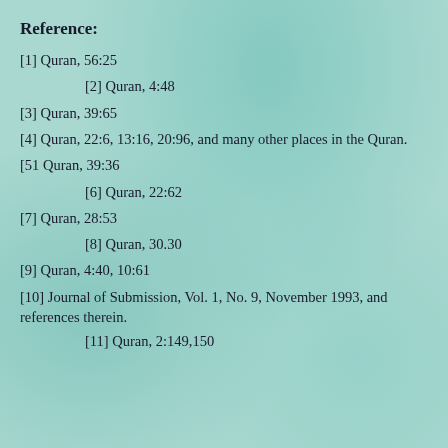Reference:
[1] Quran, 56:25
[2] Quran, 4:48
[3] Quran, 39:65
[4] Quran, 22:6, 13:16, 20:96, and many other places in the Quran.
[51 Quran, 39:36
[6] Quran, 22:62
[7] Quran, 28:53
[8] Quran, 30.30
[9] Quran, 4:40, 10:61
[10] Journal of Submission, Vol. 1, No. 9, November 1993, and references therein.
[11] Quran, 2:149,150